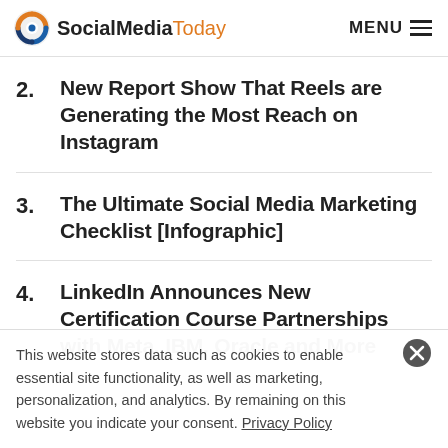SocialMediaToday  MENU
2. New Report Show That Reels are Generating the Most Reach on Instagram
3. The Ultimate Social Media Marketing Checklist [Infographic]
4. LinkedIn Announces New Certification Course Partnerships with Meta. IBM. Oracle and More
This website stores data such as cookies to enable essential site functionality, as well as marketing, personalization, and analytics. By remaining on this website you indicate your consent. Privacy Policy